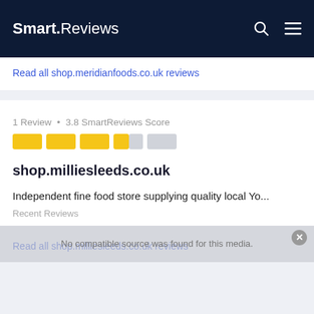Smart.Reviews
Read all shop.meridianfoods.co.uk reviews
1 Review • 3.8 SmartReviews Score
shop.milliesleeds.co.uk
Independent fine food store supplying quality local Yo...
Recent Reviews
Read all shop.milliesleeds.co.uk reviews